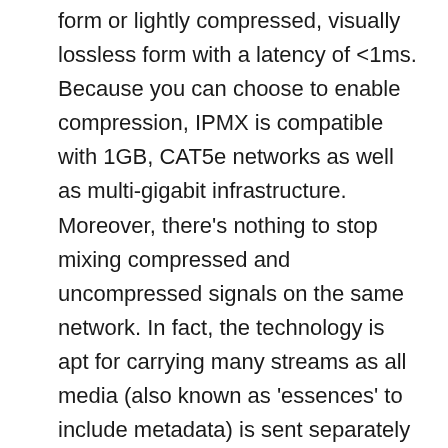form or lightly compressed, visually lossless form with a latency of <1ms. Because you can choose to enable compression, IPMX is compatible with 1GB, CAT5e networks as well as multi-gigabit infrastructure. Moreover, there's nothing to stop mixing compressed and uncompressed signals on the same network. In fact, the technology is apt for carrying many streams as all media (also known as 'essences' to include metadata) is sent separately which can lead to hundreds of separate streams on the network. The benefit of splitting everything up is that in the past if you wanted to read subtitles, you would have to decode a 3Gbps signal to access a data stream better measured in bytes per second. Receiving just the data you need allows servers or hardware chips to minimise costs.
…Jean explains how multicast is used to deliver streams to…